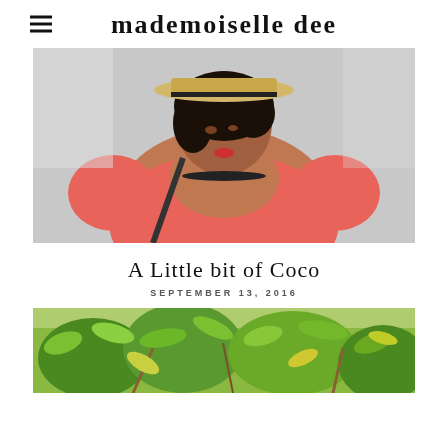mademoiselle dee
[Figure (photo): Woman wearing a pink puff-sleeve top, straw hat, and black choker necklace, looking to the side against a light background]
A Little bit of Coco
SEPTEMBER 13, 2016
[Figure (photo): Green tropical foliage with leaves and branches against a bright background]